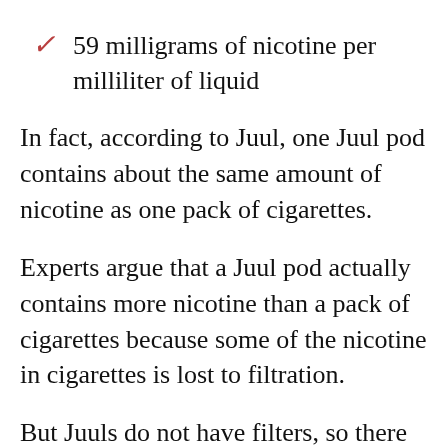59 milligrams of nicotine per milliliter of liquid
In fact, according to Juul, one Juul pod contains about the same amount of nicotine as one pack of cigarettes.
Experts argue that a Juul pod actually contains more nicotine than a pack of cigarettes because some of the nicotine in cigarettes is lost to filtration.
But Juuls do not have filters, so there is no nicotine loss through filtration when a user is smoking a Juul pod.